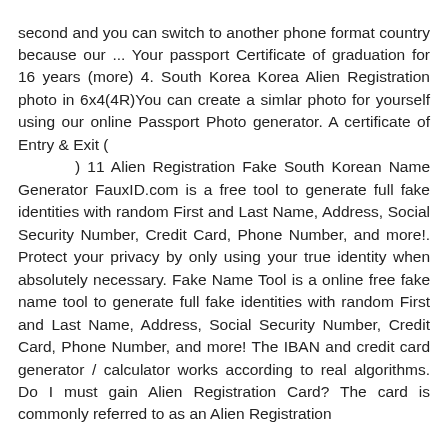second and you can switch to another phone format country because our ... Your passport Certificate of graduation for 16 years (more) 4. South Korea Korea Alien Registration photo in 6x4(4R)You can create a simlar photo for yourself using our online Passport Photo generator. A certificate of Entry & Exit ( ) 11 Alien Registration Fake South Korean Name Generator FauxID.com is a free tool to generate full fake identities with random First and Last Name, Address, Social Security Number, Credit Card, Phone Number, and more!. Protect your privacy by only using your true identity when absolutely necessary. Fake Name Tool is a online free fake name tool to generate full fake identities with random First and Last Name, Address, Social Security Number, Credit Card, Phone Number, and more! The IBAN and credit card generator / calculator works according to real algorithms. Do I must gain Alien Registration Card? The card is commonly referred to as an Alien Registration